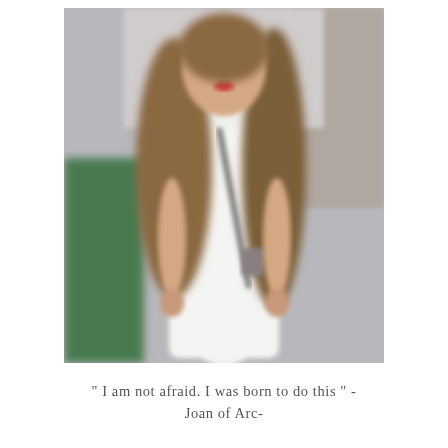[Figure (photo): A blurred photograph of a young woman with long brown hair wearing a white dress with a gray crossbody bag strap, standing outdoors with a blurred urban background.]
" I am not afraid. I was born to do this " - Joan of Arc-